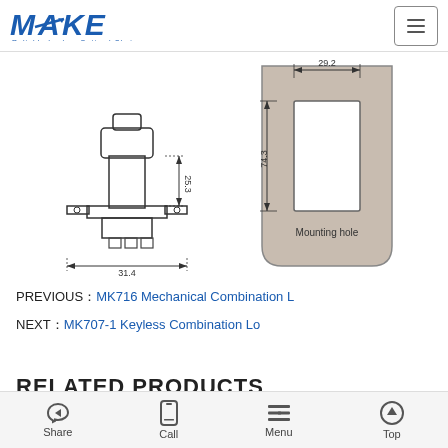MAKE — Reliable Locks · Optimal Choice
[Figure (engineering-diagram): Technical/dimensional drawing of a lock mechanism showing front view with dimensions: height 25.3 mm, base width 31.4 mm]
[Figure (engineering-diagram): Technical drawing of mounting plate/strike plate showing mounting hole with dimensions: width 29.2 mm, height 74.3 mm. Labeled 'Mounting hole'.]
PREVIOUS：MK716 Mechanical Combination L
NEXT：MK707-1 Keyless Combination Lo
RELATED PRODUCTS
Share   Call   Menu   Top